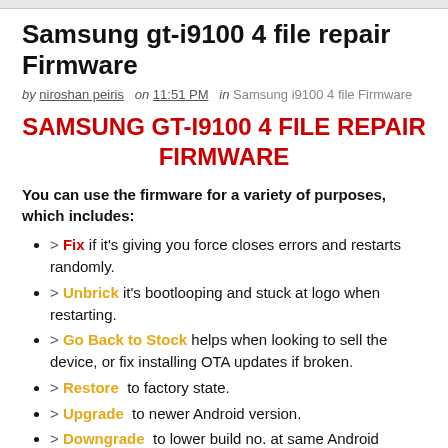Samsung gt-i9100 4 file repair Firmware
by niroshan peiris  on 11:51 PM  in Samsung i9100 4 file Firmware
SAMSUNG GT-I9100 4 FILE REPAIR FIRMWARE
You can use the firmware for a variety of purposes, which includes:
> Fix if it's giving you force closes errors and restarts randomly.
> Unbrick it's bootlooping and stuck at logo when restarting.
> Go Back to Stock helps when looking to sell the device, or fix installing OTA updates if broken.
> Restore  to factory state.
> Upgrade  to newer Android version.
> Downgrade  to lower build no. at same Android version.